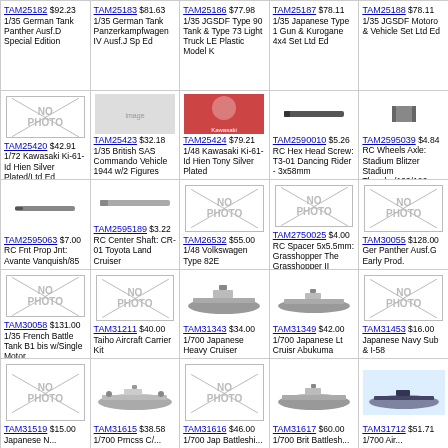| TAM25182 $92.23 1/35 German Tank Panther Ausf.D Special Edition | TAM25183 $81.63 1/35 German Tank Panzerkampfwagen IV Ausf.J Sp Ed | TAM25186 $77.98 1/35 JGSDF Type 90 Tank & Type 73 Light Truck LE Plastic Model K | TAM25187 $78.11 1/35 Japanese Type 1 Gun & Kurogane 4x4 Set Ltd Ed | TAM25188 $78.11 1/35 JGSDF Motoro & Vehicle Set Ltd Ed |
| TAM25420 $42.91 1/72 Kawasaki Ki-61-Id Hien Silver Plated/Ltd Ed | TAM25423 $32.18 1/35 British SAS Commando Vehicle 1944 w/2 Figures | TAM25424 $79.21 1/48 Kawasaki Ki-61-Id Hien Tony Silver Plated | TAM2590010 $5.26 RC Hex Head Screw: T3-01 Dancing Rider - 3x58mm | TAM2595039 $4.84 RC Wheels Axle: Stadium Blitzer Stadium Thunder/122/106 |
| TAM2595063 $7.00 RC Fnt Prop Jnt: Avante Vanquish/85 | TAM2595189 $3.22 RC Center Shaft: CR-01 Toyota Land Cruiser | TAM26532 $55.00 1/48 Volkswagen Type 82E | TAM2750025 $4.00 RC Spacer 5x5.5mm: Grasshopper The Grasshopper II | TAM30055 $128.00 Ger Panther Ausf.G Early Prod. |
| TAM30058 $131.00 1/35 French Battle Tank B1 bis w/Single Motor | TAM31211 $40.00 Taiho Aircraft Carrier Kit | TAM31343 $34.00 1/700 Japanese Heavy Cruiser | TAM31349 $42.00 1/700 Japanese Lt Cruisr Abukuma | TAM31453 $16.00 Japanese Navy Sub & I-58 |
| TAM31519 $15.00 | TAM31615 $38.58 | TAM31616 $46.00 | TAM31617 $60.00 | TAM31712 $51.71 |